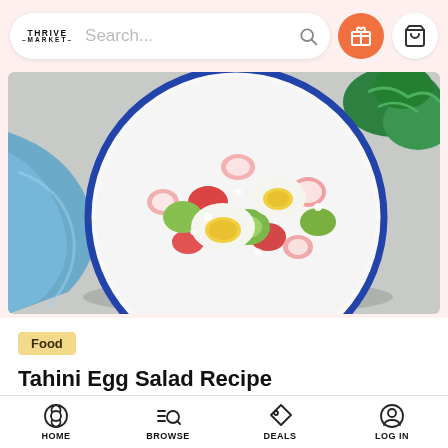Thrive Market — Search...
[Figure (photo): Overhead photo of a white plate with blue rim containing a colorful salad with halved boiled eggs, radishes, strawberries, avocado, and greens. A blue cloth napkin and fresh herbs are visible in the background on a grey surface.]
Food
Tahini Egg Salad Recipe
[schema description]Classic egg salad is usually doused in mayo, but here's a version that's creamy
HOME  BROWSE  DEALS  LOG IN